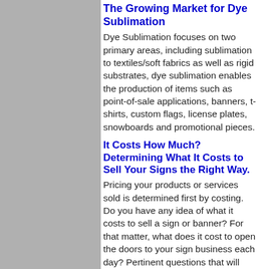The Growing Market for Dye Sublimation
Dye Sublimation focuses on two primary areas, including sublimation to textiles/soft fabrics as well as rigid substrates, dye sublimation enables the production of items such as point-of-sale applications, banners, t-shirts, custom flags, license plates, snowboards and promotional pieces.
It Costs How Much? Determining What It Costs to Sell Your Signs the Right Way.
Pricing your products or services sold is determined first by costing. Do you have any idea of what it costs to sell a sign or banner? For that matter, what does it cost to open the doors to your sign business each day? Pertinent questions that will influence your pricing…